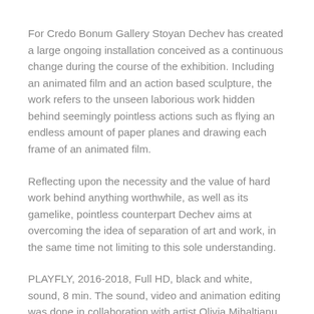For Credo Bonum Gallery Stoyan Dechev has created a large ongoing installation conceived as a continuous change during the course of the exhibition. Including an animated film and an action based sculpture, the work refers to the unseen laborious work hidden behind seemingly pointless actions such as flying an endless amount of paper planes and drawing each frame of an animated film.
Reflecting upon the necessity and the value of hard work behind anything worthwhile, as well as its gamelike, pointless counterpart Dechev aims at overcoming the idea of separation of art and work, in the same time not limiting to this sole understanding.
PLAYFLY, 2016-2018, Full HD, black and white, sound, 8 min. The sound, video and animation editing was done in collaboration with artist Olivia Mihaltianu.